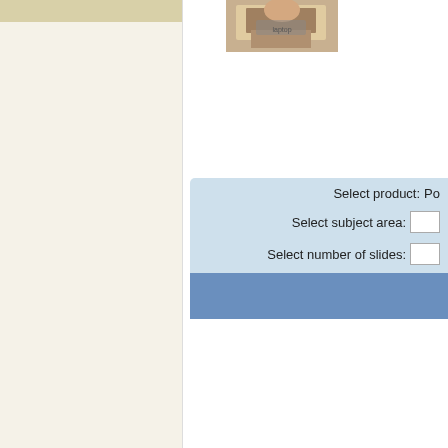[Figure (photo): Photo of person using laptop computer, cropped at top]
Select product: Po
Select subject area:
Select number of slides:
|  | Standard |
| --- | --- |
| 10 days | $17.00 |
| 7 days | $17.00 |
| 5 days | $17.00 |
| 3 days | $17.00 |
| 48 hours | $22.00 |
| 24 hours | $27.00 |